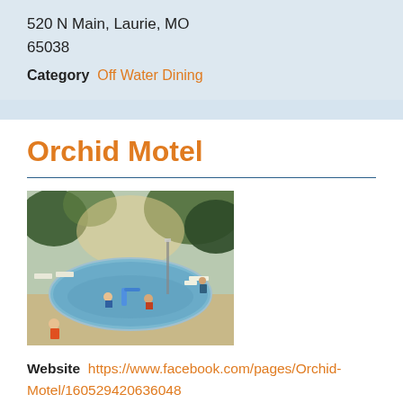520 N Main, Laurie, MO
65038
Category  Off Water Dining
Orchid Motel
[Figure (photo): Outdoor swimming pool with lounge chairs, children playing, surrounded by trees at sunset.]
Website  https://www.facebook.com/pages/Orchid-Motel/160529420636048
Phone Number  573-365-2680
Address